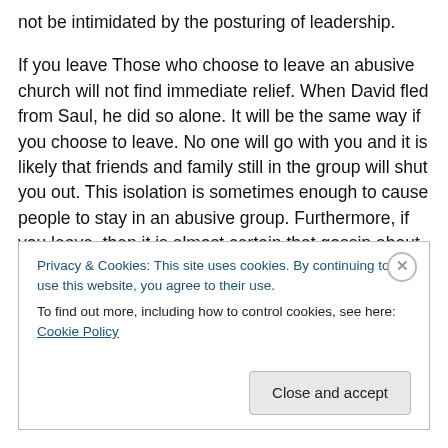not be intimidated by the posturing of leadership.

If you leave Those who choose to leave an abusive church will not find immediate relief. When David fled from Saul, he did so alone. It will be the same way if you choose to leave. No one will go with you and it is likely that friends and family still in the group will shut you out. This isolation is sometimes enough to cause people to stay in an abusive group. Furthermore, if you leave, then it is almost certain that gossip about you will circulate, at the highest levels even, gossip that is malicious and about which you
Privacy & Cookies: This site uses cookies. By continuing to use this website, you agree to their use.
To find out more, including how to control cookies, see here: Cookie Policy
Close and accept